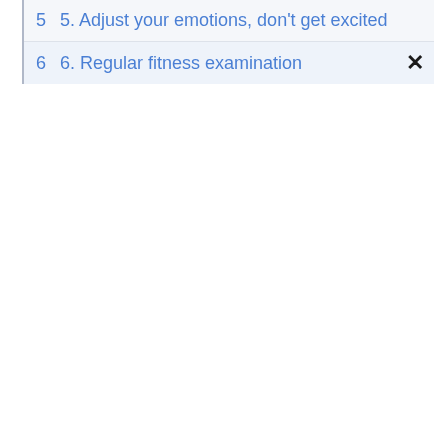5 5. Adjust your emotions, don't get excited
6 6. Regular fitness examination